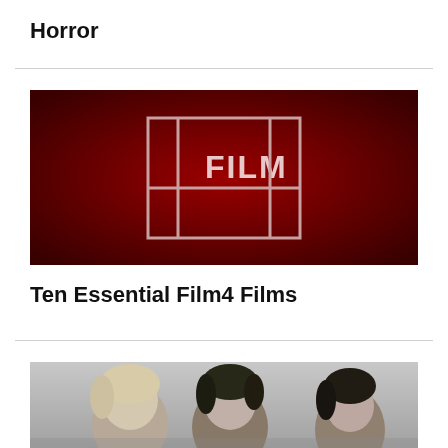Horror
[Figure (logo): Film4 logo on dark red gradient background. A rectangular outline box contains the word FILM with a stylized 4 shape formed by the box borders.]
Ten Essential Film4 Films
[Figure (photo): Black and white photo showing three women with their heads visible, facing toward the camera.]